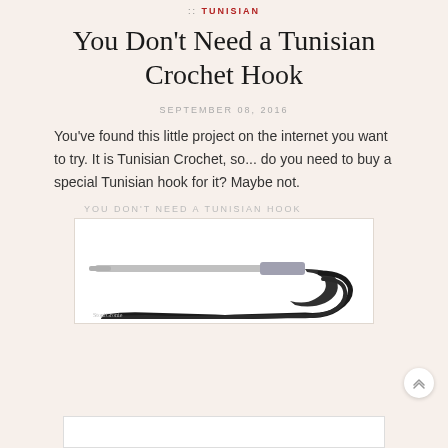:: TUNISIAN
You Don't Need a Tunisian Crochet Hook
SEPTEMBER 08, 2016
You've found this little project on the internet you want to try. It is Tunisian Crochet, so... do you need to buy a special Tunisian hook for it? Maybe not.
[Figure (photo): Photo of a crochet hook with black yarn looped through it, with text overlay 'YOU DON'T NEED A TUNISIAN HOOK' and watermark 'StoniGronie']